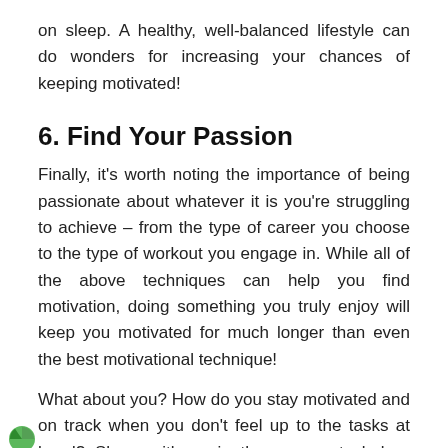on sleep. A healthy, well-balanced lifestyle can do wonders for increasing your chances of keeping motivated!
6. Find Your Passion
Finally, it's worth noting the importance of being passionate about whatever it is you're struggling to achieve – from the type of career you choose to the type of workout you engage in. While all of the above techniques can help you find motivation, doing something you truly enjoy will keep you motivated for much longer than even the best motivational technique!
What about you? How do you stay motivated and on track when you don't feel up to the tasks at hand? Share with us in the comments below. Plus, sign up to receive our top tips